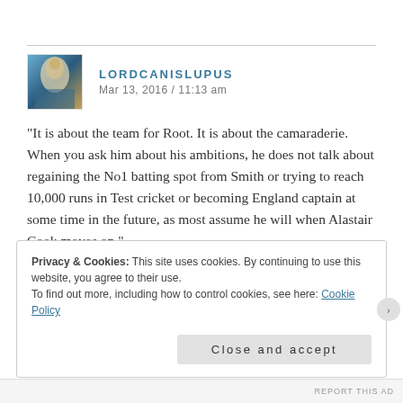LORDCANISLUPUS
Mar 13, 2016 / 11:13 am
“It is about the team for Root. It is about the camaraderie. When you ask him about his ambitions, he does not talk about regaining the No1 batting spot from Smith or trying to reach 10,000 runs in Test cricket or becoming England captain at some time in the future, as most assume he will when Alastair Cook moves on.”
Privacy & Cookies: This site uses cookies. By continuing to use this website, you agree to their use.
To find out more, including how to control cookies, see here: Cookie Policy
Close and accept